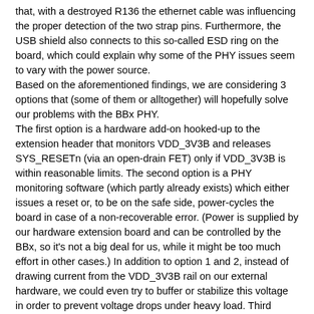that, with a destroyed R136 the ethernet cable was influencing the proper detection of the two strap pins. Furthermore, the USB shield also connects to this so-called ESD ring on the board, which could explain why some of the PHY issues seem to vary with the power source.
Based on the aforementioned findings, we are considering 3 options that (some of them or alltogether) will hopefully solve our problems with the BBx PHY.
The first option is a hardware add-on hooked-up to the extension header that monitors VDD_3V3B and releases SYS_RESETn (via an open-drain FET) only if VDD_3V3B is within reasonable limits. The second option is a PHY monitoring software (which partly already exists) which either issues a reset or, to be on the safe side, power-cycles the board in case of a non-recoverable error. (Power is supplied by our hardware extension board and can be controlled by the BBx, so it's not a big deal for us, while it might be too much effort in other cases.) In addition to option 1 and 2, instead of drawing current from the VDD_3V3B rail on our external hardware, we could even try to buffer or stabilize this voltage in order to prevent voltage drops under heavy load. Third option is to make some minor changes on the BBx board, namely either removing C163 to C166, or adding one larger cap (~ 1uF) on REGOFF and nINTSEL, respectively, connecting them to DGND instead of SHIELD. That way, even if R136